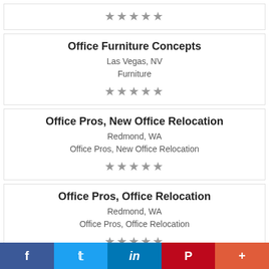★★★★★ (partial top card stars)
Office Furniture Concepts
Las Vegas, NV
Furniture
★★★★★
Office Pros, New Office Relocation
Redmond, WA
Office Pros, New Office Relocation
★★★★★
Office Pros, Office Relocation
Redmond, WA
Office Pros, Office Relocation
★★★★★ (partial)
f  🐦  in  P  +